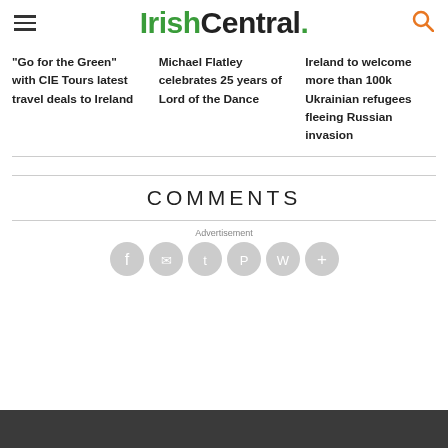IrishCentral.
"Go for the Green" with CIE Tours latest travel deals to Ireland
Michael Flatley celebrates 25 years of Lord of the Dance
Ireland to welcome more than 100k Ukrainian refugees fleeing Russian invasion
COMMENTS
Advertisement
[Figure (other): Social sharing icons: Facebook, Email, Twitter, Pinterest, WhatsApp, More]